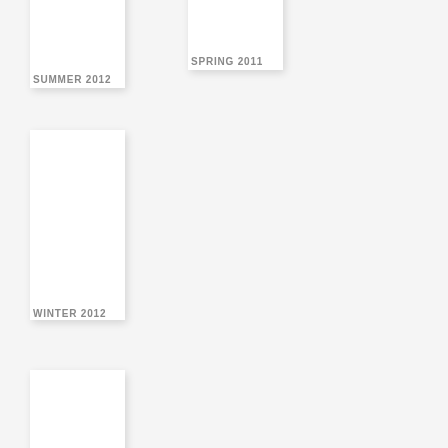[Figure (other): Magazine or journal cover card labeled SUMMER 2012, white card with shadow, partially cropped at top]
SUMMER 2012
[Figure (other): Magazine or journal cover card labeled SPRING 2011, white card with shadow, partially cropped at top]
SPRING 2011
[Figure (other): Magazine or journal cover card labeled WINTER 2012, white card with shadow]
WINTER 2012
[Figure (other): Magazine or journal cover card, white card with shadow, partially cropped at bottom, no label visible]